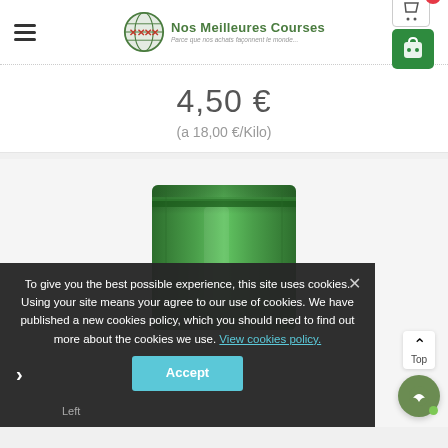[Figure (logo): Nos Meilleures Courses logo with globe icon and tagline 'Parce que nos achats façonnent le monde...']
4,50 €
(a 18,00 €/Kilo)
[Figure (photo): Green foil bag product photo]
To give you the best possible experience, this site uses cookies. Using your site means your agree to our use of cookies. We have published a new cookies policy, which you should need to find out more about the cookies we use. View cookies policy.
Accept
Left
Top